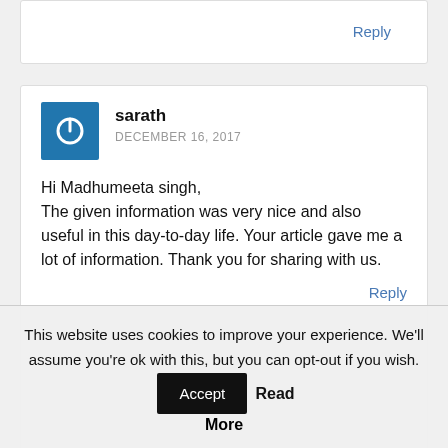Reply
sarath
DECEMBER 16, 2017
Hi Madhumeeta singh,
The given information was very nice and also useful in this day-to-day life. Your article gave me a lot of information. Thank you for sharing with us.
Reply
Vinay
This website uses cookies to improve your experience. We'll assume you're ok with this, but you can opt-out if you wish. Accept Read More